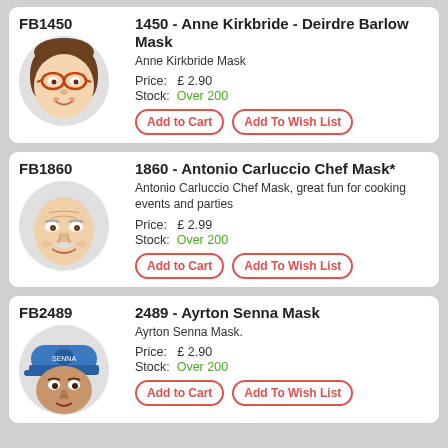FB1450
1450 - Anne Kirkbride - Deirdre Barlow Mask
Anne Kirkbride Mask
Price: £ 2.90
Stock: Over 200
FB1860
1860 - Antonio Carluccio Chef Mask*
Antonio Carluccio Chef Mask, great fun for cooking events and parties
Price: £ 2.99
Stock: Over 200
FB2489
2489 - Ayrton Senna Mask
Ayrton Senna Mask.
Price: £ 2.90
Stock: Over 200